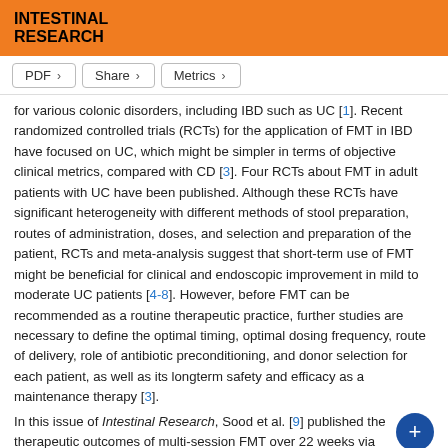INTESTINAL RESEARCH
PDF  Share  Metrics
for various colonic disorders, including IBD such as UC [1]. Recent randomized controlled trials (RCTs) for the application of FMT in IBD have focused on UC, which might be simpler in terms of objective clinical metrics, compared with CD [3]. Four RCTs about FMT in adult patients with UC have been published. Although these RCTs have significant heterogeneity with different methods of stool preparation, routes of administration, doses, and selection and preparation of the patient, RCTs and meta-analysis suggest that short-term use of FMT might be beneficial for clinical and endoscopic improvement in mild to moderate UC patients [4-8]. However, before FMT can be recommended as a routine therapeutic practice, further studies are necessary to define the optimal timing, optimal dosing frequency, route of delivery, role of antibiotic preconditioning, and donor selection for each patient, as well as its longterm safety and efficacy as a maintenance therapy [3].
In this issue of Intestinal Research, Sood et al. [9] published the therapeutic outcomes of multi-session FMT over 22 weeks via